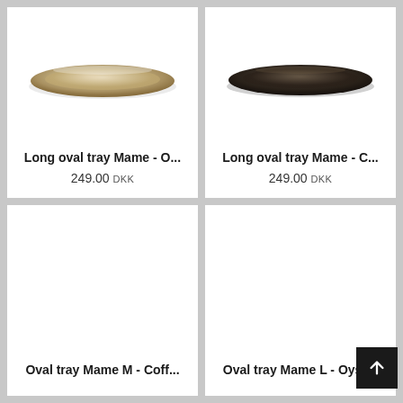[Figure (photo): Light/golden colored long oval tray Mame product photo on white background]
Long oval tray Mame - O...
249.00 DKK
[Figure (photo): Dark/charcoal colored long oval tray Mame product photo on white background]
Long oval tray Mame - C...
249.00 DKK
[Figure (photo): Oval tray Mame M Coffee color product card with no visible product image]
Oval tray Mame M - Coff...
[Figure (photo): Oval tray Mame L Oyster product card with no visible product image]
Oval tray Mame L - Oyster